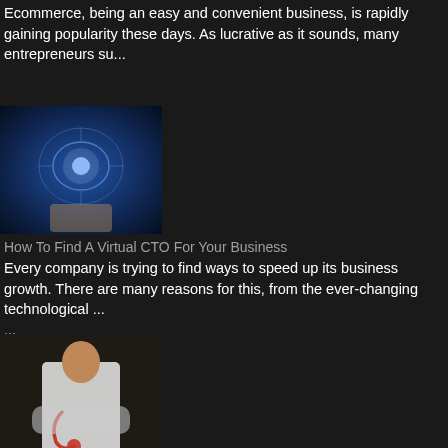Ecommerce, being an easy and convenient business, is rapidly gaining popularity these days. As lucrative as it sounds, many entrepreneurs su...
[Figure (photo): Technology/digital circuit blue-toned photo thumbnail]
How To Find A Virtual CTO For Your Business
Every company is trying to find ways to speed up its business growth. There are many reasons for this, from the ever-changing technological ...
[Figure (photo): Doctor/healthcare professional with stethoscope photo thumbnail]
How Can Tech Help Healthcare Centers Administratively?
Technology affects all aspects of our lives, from entertainment to transportation. It also plays an integral role in the healthcare industry...
[Figure (photo): Bitcoin cryptocurrency coin on laptop keyboard photo thumbnail]
How To Further Your Crypto Investments
There is a column in this import that takes up a number of returns on the ...